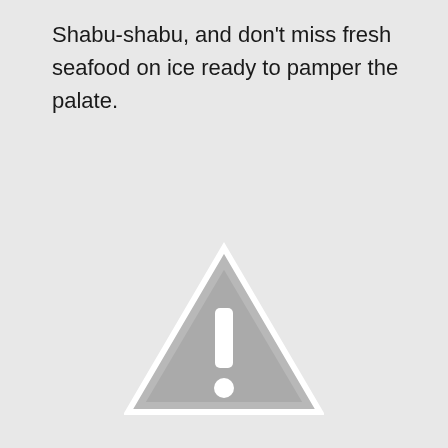Shabu-shabu, and don't miss fresh seafood on ice ready to pamper the palate.
[Figure (other): A gray warning/caution triangle icon with an exclamation mark, displayed as a placeholder image indicator.]